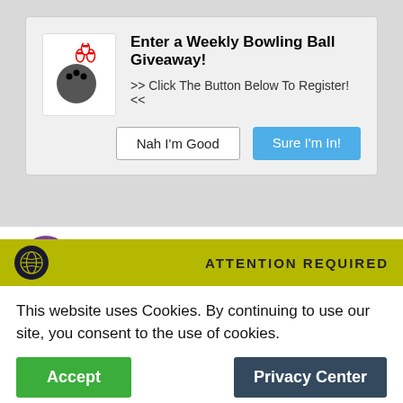[Figure (screenshot): Bowling ball and pins emoji/icon inside a white box]
Enter a Weekly Bowling Ball Giveaway!
>> Click The Button Below To Register! <<
Nah I'm Good
Sure I'm In!
That is amazing!!
REPLY
ATTENTION REQUIRED
This website uses Cookies. By continuing to use our site, you consent to the use of cookies.
Accept
Privacy Center